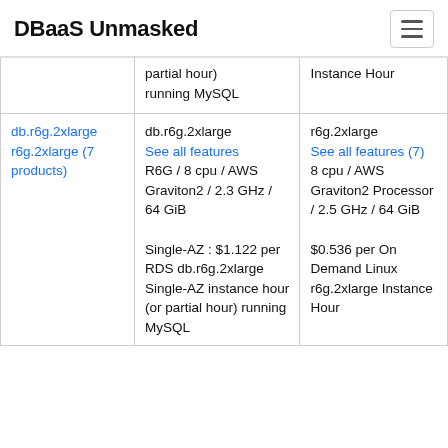DBaaS Unmasked
|  | partial hour) running MySQL | Instance Hour |
| --- | --- | --- |
| db.r6g.2xlarge r6g.2xlarge (7 products) | db.r6g.2xlarge See all features R6G / 8 cpu / AWS Graviton2 / 2.3 GHz / 64 GiB

Single-AZ : $1.122 per RDS db.r6g.2xlarge Single-AZ instance hour (or partial hour) running MySQL | r6g.2xlarge See all features (7)
8 cpu / AWS Graviton2 Processor / 2.5 GHz / 64 GiB

$0.536 per On Demand Linux r6g.2xlarge Instance Hour |